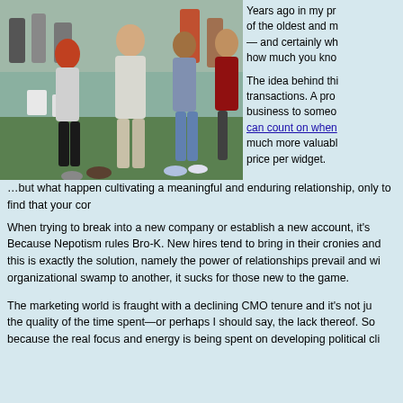[Figure (photo): Outdoor scene showing a group of people in what appears to be a physical struggle or tug-of-war activity on a grass field with white chairs in the background. One woman with red hair in the foreground, several other people pulling and leaning.]
Years ago in my pr of the oldest and m— and certainly wh how much you kno
The idea behind thi transactions. A pro business to someo can count on when much more valuabl price per widget.
…but what happen cultivating a meaningful and enduring relationship, only to find that your cor
When trying to break into a new company or establish a new account, it's Because Nepotism rules Bro-K. New hires tend to bring in their cronies and this is exactly the solution, namely the power of relationships prevail and wi organizational swamp to another, it sucks for those new to the game.
The marketing world is fraught with a declining CMO tenure and it's not ju the quality of the time spent—or perhaps I should say, the lack thereof. So because the real focus and energy is being spent on developing political cli